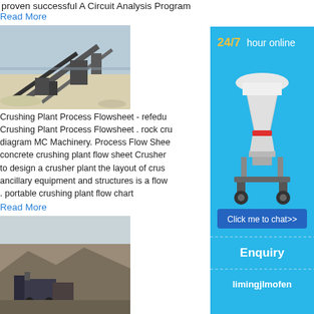proven successful A Circuit Analysis Program
Read More
[Figure (photo): Aerial view of a crushing plant with conveyor belts and industrial equipment in a sandy/white mining site]
Crushing Plant Process Flowsheet - refedu Crushing Plant Process Flowsheet . rock crushing diagram MC Machinery. Process Flow Sheet concrete crushing plant flow sheet Crusher to design a crusher plant the layout of crusher ancillary equipment and structures is a flow . portable crushing plant flow chart
Read More
[Figure (photo): Outdoor mining/quarry scene with crushing equipment and rocky terrain]
[Figure (infographic): Sidebar advertisement: 24/7 hour online, image of cone crusher, Click me to chat>> button, Enquiry section, limingjlmofen text]